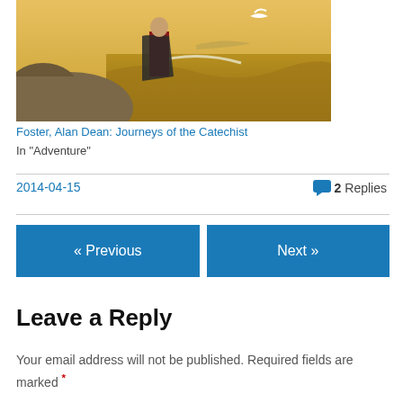[Figure (illustration): Fantasy illustration of a warrior figure in red garments standing on rocky sea cliffs with ocean waves and a white bird flying in a golden sky]
Foster, Alan Dean: Journeys of the Catechist
In "Adventure"
2014-04-15
2 Replies
« Previous
Next »
Leave a Reply
Your email address will not be published. Required fields are marked *